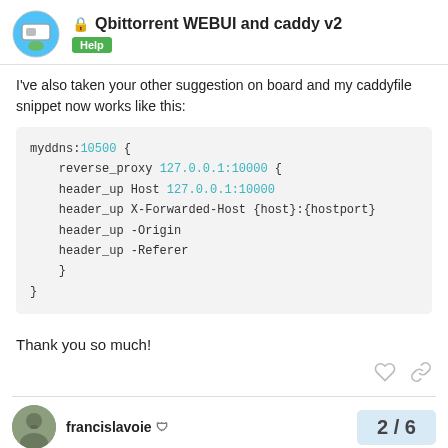🔒 Qbittorrent WEBUI and caddy v2 — Help
I've also taken your other suggestion on board and my caddyfile snippet now works like this:
myddns:10500 {
    reverse_proxy 127.0.0.1:10000 {
    header_up Host 127.0.0.1:10000
    header_up X-Forwarded-Host {host}:{hostport}
    header_up -Origin
    header_up -Referer
    }
}
Thank you so much!
francislavoie — 2 / 6